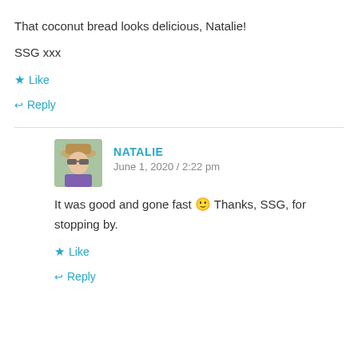That coconut bread looks delicious, Natalie!
SSG xxx
★ Like
↩ Reply
NATALIE
June 1, 2020 / 2:22 pm
[Figure (photo): Avatar photo of Natalie wearing a hat and sunglasses]
It was good and gone fast 🙂 Thanks, SSG, for stopping by.
★ Like
↩ Reply